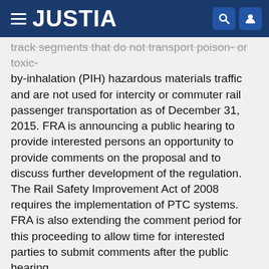JUSTIA
track segments that do not transport poison- or toxic-by-inhalation (PIH) hazardous materials traffic and are not used for intercity or commuter rail passenger transportation as of December 31, 2015. FRA is announcing a public hearing to provide interested persons an opportunity to provide comments on the proposal and to discuss further development of the regulation. The Rail Safety Improvement Act of 2008 requires the implementation of PTC systems. FRA is also extending the comment period for this proceeding to allow time for interested parties to submit comments after the public hearing.
https://regulations.justia.com/regulations/fedreg/2011/10/14/2011-26594.html
Following Procedures When Going Between Rolling Equipment